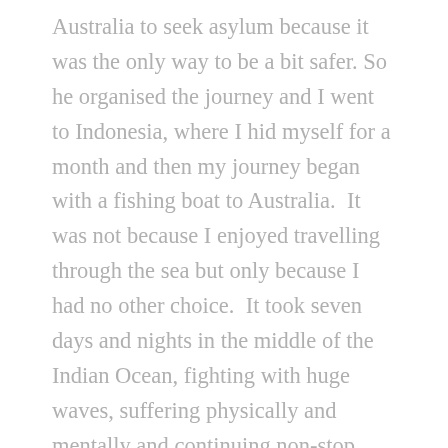Australia to seek asylum because it was the only way to be a bit safer. So he organised the journey and I went to Indonesia, where I hid myself for a month and then my journey began with a fishing boat to Australia.  It was not because I enjoyed travelling through the sea but only because I had no other choice.  It took seven days and nights in the middle of the Indian Ocean, fighting with huge waves, suffering physically and mentally and continuing non-stop because there was no safe way to return to my home. There were forty-three innocent women and children in the boat who were hungry, thirsty, crying and praying to find a safe place to settle down. It was beyond imagination. After we arrived in Australia, we were transferred directly to an immigration detention centre in a remote area under surveillance of the Australian military. Our first meeting with the head of Department of Immigration was unforgettable because he clearly told us: On behalf of all Australian people, I tell you that, "You are not welcome in Australia"